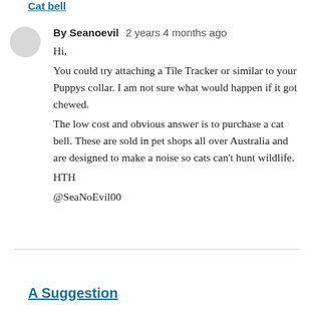Cat bell
By Seanoevil   2 years 4 months ago

Hi,

You could try attaching a Tile Tracker or similar to your Puppys collar. I am not sure what would happen if it got chewed.
The low cost and obvious answer is to purchase a cat bell. These are sold in pet shops all over Australia and are designed to make a noise so cats can't hunt wildlife.
HTH
@SeaNoEvil00
A Suggestion